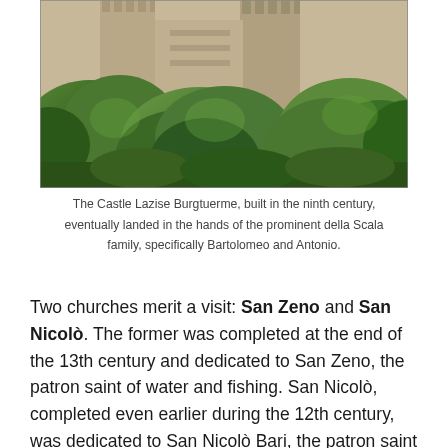[Figure (photo): Photograph of Castle Lazise Burgtuerme showing stone castle towers with battlements partially obscured by dense green trees and vegetation, taken in daylight.]
The Castle Lazise Burgtuerme, built in the ninth century, eventually landed in the hands of the prominent della Scala family, specifically Bartolomeo and Antonio.
Two churches merit a visit: San Zeno and San Nicolò. The former was completed at the end of the 13th century and dedicated to San Zeno, the patron saint of water and fishing. San Nicolò, completed even earlier during the 12th century, was dedicated to San Nicolò Bari, the patron saint of sailors and fishermen. Although it contains...